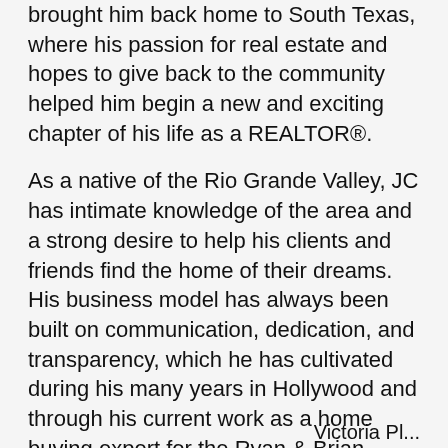brought him back home to South Texas, where his passion for real estate and hopes to give back to the community helped him begin a new and exciting chapter of his life as a REALTOR®.
As a native of the Rio Grande Valley, JC has intimate knowledge of the area and a strong desire to help his clients and friends find the home of their dreams. His business model has always been built on communication, dedication, and transparency, which he has cultivated during his many years in Hollywood and through his current work as a home buying expert for the Ryan & Brian Team, helping many families find their dream home – and he's confident he can help you find yours too!
JC is happily married to the great love of his life, and together they have two beautiful puppies, and enjoys cooking, HGTV, flipping furniture, and watching the dishes collect in the sink.
Victoria Pl...